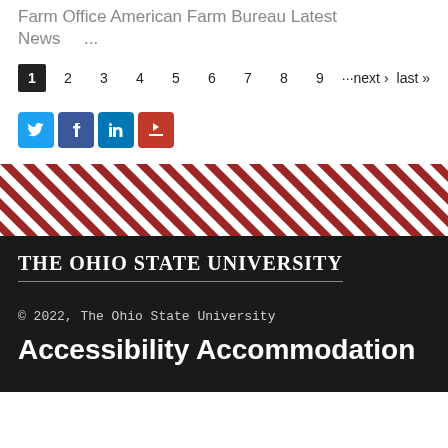Farm Office American Farm Bureau Latest News ...
1 2 3 4 5 6 7 8 9 ···next › last »
[Figure (other): Social media share icons: Twitter (blue bird), Facebook (blue f), LinkedIn (blue in), AddThis (red bookmark)]
[Figure (other): Diagonal red and white stripe pattern banner]
The Ohio State University
© 2022, The Ohio State University
Accessibility Accommodation